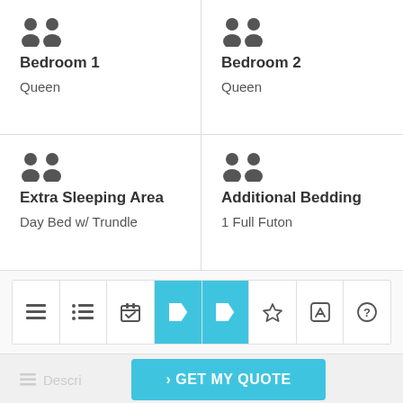Bedroom 1
Queen
Bedroom 2
Queen
Extra Sleeping Area
Day Bed w/ Trundle
Additional Bedding
1 Full Futon
[Figure (screenshot): Navigation toolbar with icons for list view, checklist, calendar, two tag/price buttons (highlighted in teal), star, edit, and help]
> GET MY QUOTE